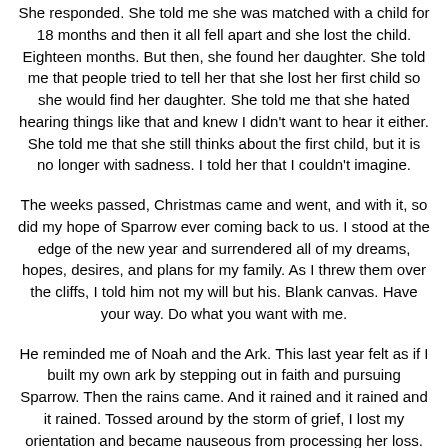She responded. She told me she was matched with a child for 18 months and then it all fell apart and she lost the child. Eighteen months. But then, she found her daughter. She told me that people tried to tell her that she lost her first child so she would find her daughter. She told me that she hated hearing things like that and knew I didn't want to hear it either. She told me that she still thinks about the first child, but it is no longer with sadness. I told her that I couldn't imagine.
The weeks passed, Christmas came and went, and with it, so did my hope of Sparrow ever coming back to us. I stood at the edge of the new year and surrendered all of my dreams, hopes, desires, and plans for my family. As I threw them over the cliffs, I told him not my will but his. Blank canvas. Have your way. Do what you want with me.
He reminded me of Noah and the Ark. This last year felt as if I built my own ark by stepping out in faith and pursuing Sparrow. Then the rains came. And it rained and it rained and it rained. Tossed around by the storm of grief, I lost my orientation and became nauseous from processing her loss. It felt as if the swells of raging emotions would never...